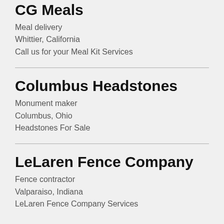CG Meals
Meal delivery
Whittier, California
Call us for your Meal Kit Services
Columbus Headstones
Monument maker
Columbus, Ohio
Headstones For Sale
LeLaren Fence Company
Fence contractor
Valparaiso, Indiana
LeLaren Fence Company Services